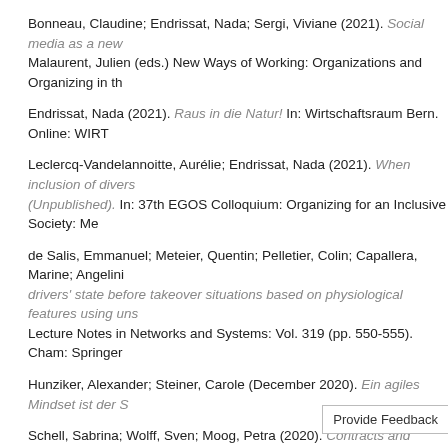Bonneau, Claudine; Endrissat, Nada; Sergi, Viviane (2021). Social media as a new… Malaurent, Julien (eds.) New Ways of Working: Organizations and Organizing in th…
Endrissat, Nada (2021). Raus in die Natur! In: Wirtschaftsraum Bern. Online: WIRT…
Leclercq-Vandelannoitte, Aurélie; Endrissat, Nada (2021). When inclusion of divers… (Unpublished). In: 37th EGOS Colloquium: Organizing for an Inclusive Society: Me…
de Salis, Emmanuel; Meteier, Quentin; Pelletier, Colin; Capallera, Marine; Angelini… drivers' state before takeover situations based on physiological features using uns… Lecture Notes in Networks and Systems: Vol. 319 (pp. 550-555). Cham: Springer…
Hunziker, Alexander; Steiner, Carole (December 2020). Ein agiles Mindset ist der S…
Schell, Sabrina; Wolff, Sven; Moog, Petra (2020). Contracts and communication a… Francis 10.1080/00472778.2020.1816429
Schell, Sabrina; de Groote, Julia K.; Moog, Petra; Hack, Andreas (2020). Success… 10.1016/j.jfbs.2019.04.005
Wolff, Sven; Schell, Sabrina; Moog, Petra (2020). Information asymmetries in intra…
Hunziker, Alexander; Blurtschi, Liliane (15 July 2020). Digitaler Mindset dank Lock…
Sauer, Juergen; Sonderegger, Andreas; Schmutz, Sven (2020). Usability, user exp… 10.1080/00140139.2020.1774080
Sauer, Jürgen; Baumgartner, Jürgen; Frei, Naomi; Sonderegg…